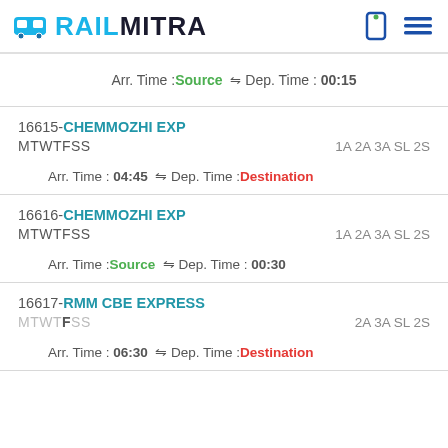RAILMITRA
Arr. Time :Source ⇌ Dep. Time : 00:15
16615-CHEMMOZHI EXP
MTWTFSS  1A 2A 3A SL 2S
Arr. Time : 04:45 ⇌ Dep. Time :Destination
16616-CHEMMOZHI EXP
MTWTFSS  1A 2A 3A SL 2S
Arr. Time :Source ⇌ Dep. Time : 00:30
16617-RMM CBE EXPRESS
MTWT FSS  2A 3A SL 2S
Arr. Time : 06:30 ⇌ Dep. Time :Destination